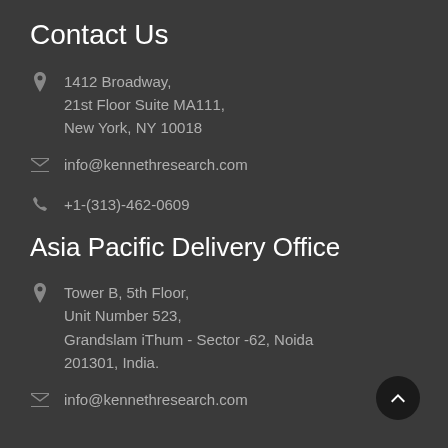Contact Us
1412 Broadway, 21st Floor Suite MA111, New York, NY 10018
info@kennethresearch.com
+1-(313)-462-0609
Asia Pacific Delivery Office
Tower B, 5th Floor, Unit Number 523, Grandslam iThum - Sector -62, Noida 201301, India.
info@kennethresearch.com